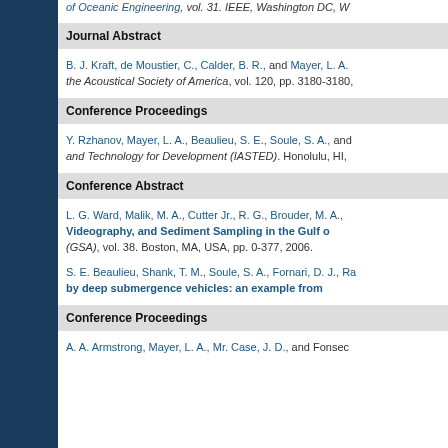of Oceanic Engineering, vol. 31. IEEE, Washington DC, W
Journal Abstract
B. J. Kraft, de Moustier, C., Calder, B. R., and Mayer, L. A. the Acoustical Society of America, vol. 120, pp. 3180-3180,
Conference Proceedings
Y. Rzhanov, Mayer, L. A., Beaulieu, S. E., Soule, S. A., and and Technology for Development (IASTED). Honolulu, HI,
Conference Abstract
L. G. Ward, Malik, M. A., Cutter Jr., R. G., Brouder, M. A., Videography, and Sediment Sampling in the Gulf o (GSA), vol. 38. Boston, MA, USA, pp. 0-377, 2006.
S. E. Beaulieu, Shank, T. M., Soule, S. A., Fornari, D. J., Ra by deep submergence vehicles: an example from
Conference Proceedings
A. A. Armstrong, Mayer, L. A., Mr. Case, J. D., and Fonsec